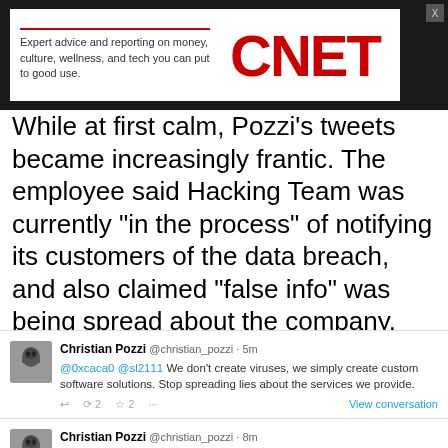[Figure (screenshot): CNET advertisement banner with tagline 'Expert advice and reporting on money, culture, wellness, and tech you can put to good use.' and CNET logo in red]
While at first calm, Pozzi's tweets became increasingly frantic. The employee said Hacking Team was currently "in the process" of notifying its customers of the data breach, and also claimed "false info" was being spread about the company.
Christian Pozzi @christian_pozzi · 5m
@0xcaca0 @sl2111 We don't create viruses, we simply create custom software solutions. Stop spreading lies about the services we provide.
View conversation
Christian Pozzi @christian_pozzi · 8m
@NoiseGateStudio @YourAnonNews Don't believe all the false info the attackers are spreading. Anyone can create adult links and upload them.
View conversation
Christian Pozzi @christian_pozzi · 11m
@sl2111 @hackingteam It's up to you what you would like to do, but